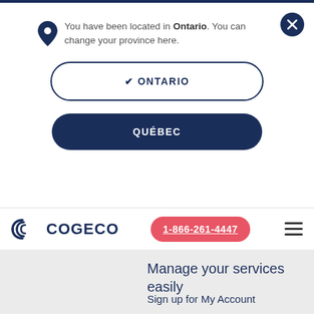You have been located in Ontario. You can change your province here.
✔ ONTARIO
QUÉBEC
[Figure (logo): Cogeco logo with stylized concentric C shapes and COGECO wordmark in dark navy blue]
1-866-261-4447
Manage your services easily
Sign up for My Account